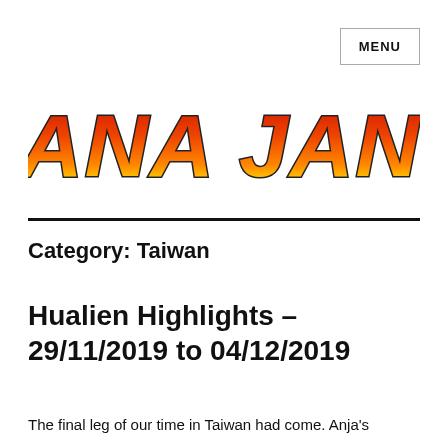MENU
[Figure (logo): Indiana Janner logo in bold italic text with flame gradient coloring from yellow at bottom to red at top with black outline]
Category: Taiwan
Hualien Highlights – 29/11/2019 to 04/12/2019
The final leg of our time in Taiwan had come. Anja's